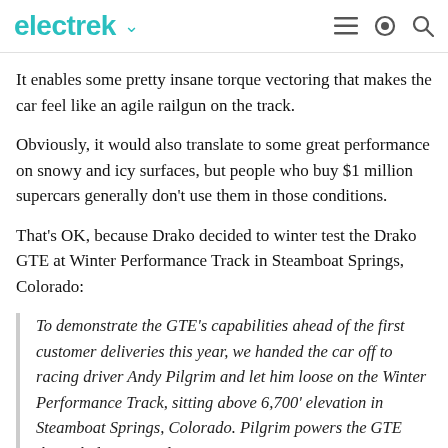electrek
It enables some pretty insane torque vectoring that makes the car feel like an agile railgun on the track.
Obviously, it would also translate to some great performance on snowy and icy surfaces, but people who buy $1 million supercars generally don't use them in those conditions.
That's OK, because Drako decided to winter test the Drako GTE at Winter Performance Track in Steamboat Springs, Colorado:
To demonstrate the GTE's capabilities ahead of the first customer deliveries this year, we handed the car off to racing driver Andy Pilgrim and let him loose on the Winter Performance Track, sitting above 6,700' elevation in Steamboat Springs, Colorado. Pilgrim powers the GTE through deep, rutted snow, connecting corners